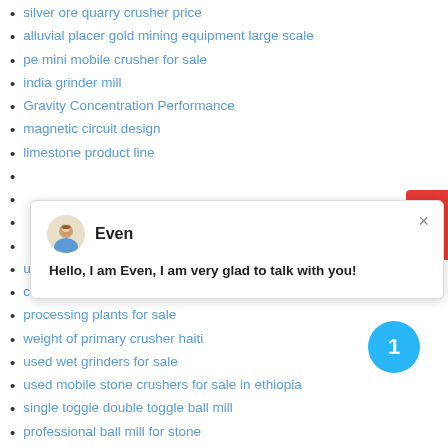silver ore quarry crusher price
alluvial placer gold mining equipment large scale
pe mini mobile crusher for sale
india grinder mill
Gravity Concentration Performance
magnetic circuit design
limestone product line
[Figure (screenshot): Chat popup with avatar icon, name 'Even', close button, and message 'Hello, I am Even, I am very glad to talk with you!']
used mobile crushing plant sale in pakistan
cone crusher simons norberg serie scs
processing plants for sale
weight of primary crusher haiti
used wet grinders for sale
used mobile stone crushers for sale in ethiopia
single toggle double toggle ball mill
professional ball mill for stone
Stone Crusher 11206693 Stone Crusher 120 Ton Price